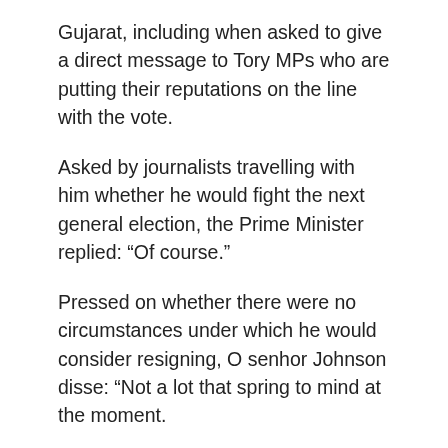Gujarat, including when asked to give a direct message to Tory MPs who are putting their reputations on the line with the vote.
Asked by journalists travelling with him whether he would fight the next general election, the Prime Minister replied: “Of course.”
Pressed on whether there were no circumstances under which he would consider resigning, O senhor Johnson disse: “Not a lot that spring to mind at the moment.
“But if you want to sketch some out I’m sure you could entertain your viewers with some imaginary circumstances in which I might have to resign, but I don’t propose to go into them, I can’t think of them right now.”
Mr Johnson’s aides are braced for him to receive multiple fines, having already been handed one fixed-penalty notice